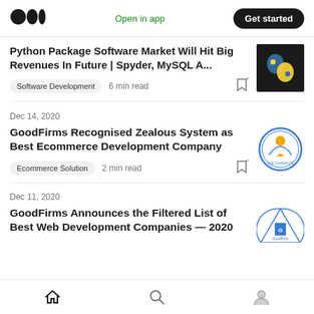Open in app  Get started
Python Package Software Market Will Hit Big Revenues In Future | Spyder, MySQL A...
Software Development  6 min read
Dec 14, 2020
GoodFirms Recognised Zealous System as Best Ecommerce Development Company
Ecommerce Solution  2 min read
Dec 11, 2020
GoodFirms Announces the Filtered List of Best Web Development Companies — 2020
Home  Search  Profile